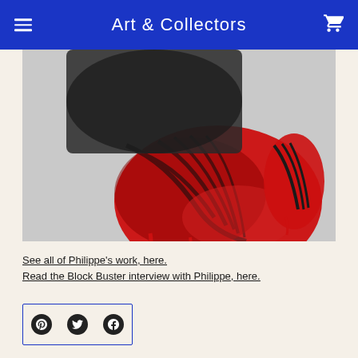Art & Collectors
[Figure (photo): Close-up painting of red and black Spiderman gloves/hands against a grey background, dripping paint style artwork]
See all of Philippe's work, here.
Read the Block Buster interview with Philippe, here.
[Figure (other): Social sharing buttons: Pinterest, Twitter, Facebook in a bordered rectangle]